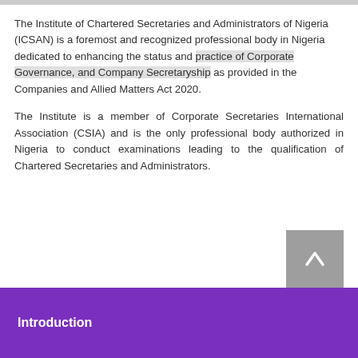The Institute of Chartered Secretaries and Administrators of Nigeria (ICSAN) is a foremost and recognized professional body in Nigeria dedicated to enhancing the status and practice of Corporate Governance, and Company Secretaryship as provided in the Companies and Allied Matters Act 2020.
The Institute is a member of Corporate Secretaries International Association (CSIA) and is the only professional body authorized in Nigeria to conduct examinations leading to the qualification of Chartered Secretaries and Administrators.
Introduction